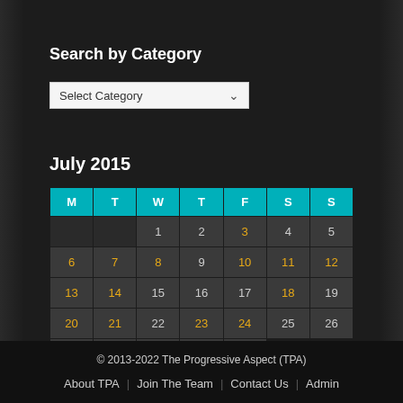Search by Category
Select Category
July 2015
| M | T | W | T | F | S | S |
| --- | --- | --- | --- | --- | --- | --- |
|  |  | 1 | 2 | 3 | 4 | 5 |
| 6 | 7 | 8 | 9 | 10 | 11 | 12 |
| 13 | 14 | 15 | 16 | 17 | 18 | 19 |
| 20 | 21 | 22 | 23 | 24 | 25 | 26 |
| 27 | 28 | 29 | 30 | 31 |  |  |
« Jun  Aug »
© 2013-2022 The Progressive Aspect (TPA)
About TPA | Join The Team | Contact Us | Admin